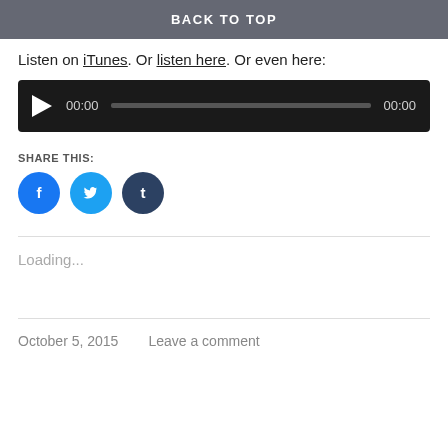BACK TO TOP
Listen on iTunes. Or listen here. Or even here:
[Figure (other): Audio player widget with play button, timestamp 00:00, progress bar, and end time 00:00 on a dark background]
SHARE THIS:
[Figure (infographic): Three circular social share buttons: Facebook (blue), Twitter (light blue), Tumblr (dark navy)]
Loading...
October 5, 2015    Leave a comment